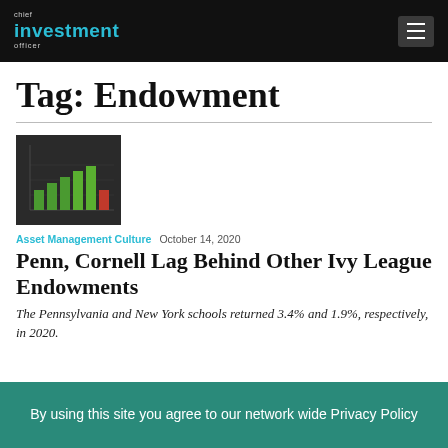chief investment officer
Tag: Endowment
[Figure (photo): Dark chalkboard background with bar chart showing green bars and one red bar]
Asset Management Culture   October 14, 2020
Penn, Cornell Lag Behind Other Ivy League Endowments
The Pennsylvania and New York schools returned 3.4% and 1.9%, respectively, in 2020.
By using this site you agree to our network wide Privacy Policy